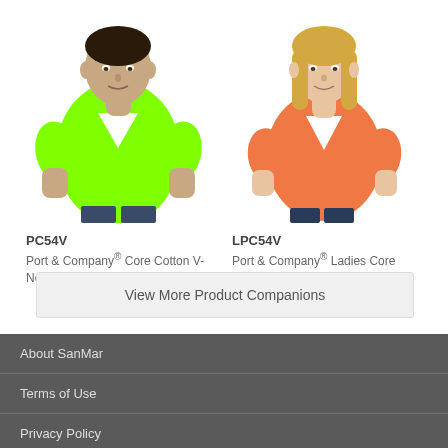[Figure (photo): Man wearing neon green V-neck t-shirt (PC54V)]
PC54V
Port & Company® Core Cotton V-Neck Tee
[Figure (photo): Woman wearing orange V-neck t-shirt (LPC54V)]
LPC54V
Port & Company® Ladies Core Cotton V-Neck Tee
View More Product Companions
About SanMar
Terms of Use
Privacy Policy